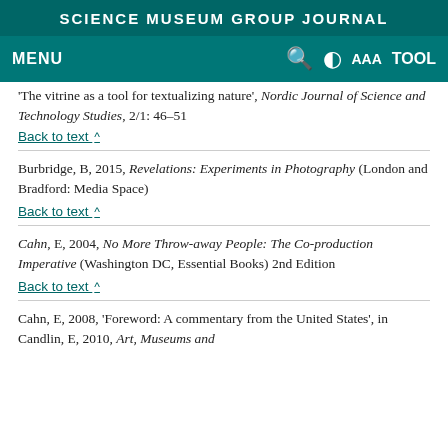SCIENCE MUSEUM GROUP JOURNAL
MENU
'The vitrine as a tool for textualizing nature', Nordic Journal of Science and Technology Studies, 2/1: 46–51
Back to text ^
Burbridge, B, 2015, Revelations: Experiments in Photography (London and Bradford: Media Space)
Back to text ^
Cahn, E, 2004, No More Throw-away People: The Co-production Imperative (Washington DC, Essential Books) 2nd Edition
Back to text ^
Cahn, E, 2008, 'Foreword: A commentary from the United States', in Candlin, E, 2010, Art, Museums and